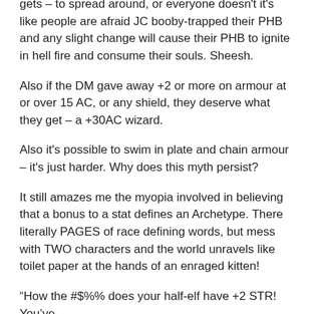gets – to spread around, or everyone doesn't it's like people are afraid JC booby-trapped their PHB and any slight change will cause their PHB to ignite in hell fire and consume their souls. Sheesh.
Also if the DM gave away +2 or more on armour at or over 15 AC, or any shield, they deserve what they get – a +30AC wizard.
Also it's possible to swim in plate and chain armour – it's just harder. Why does this myth persist?
It still amazes me the myopia involved in believing that a bonus to a stat defines an Archetype. There literally PAGES of race defining words, but mess with TWO characters and the world unravels like toilet paper at the hands of an enraged kitten!
“How the #$%% does your half-elf have +2 STR! You’ve